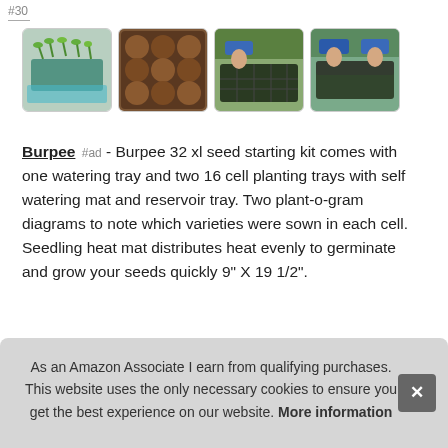#30
[Figure (photo): Four product thumbnail images: seed starting kit with green seedlings, coconut fiber soil blocks in grid tray, hand placing seeds in tray, hand placing cover on seed tray]
Burpee #ad - Burpee 32 xl seed starting kit comes with one watering tray and two 16 cell planting trays with self watering mat and reservoir tray. Two plant-o-gram diagrams to note which varieties were sown in each cell. Seedling heat mat distributes heat evenly to germinate and grow your seeds quickly 9" X 19 1/2".
Exp very an 8. E. M. 32 burpee natural coconut fiber super growing
As an Amazon Associate I earn from qualifying purchases. This website uses the only necessary cookies to ensure you get the best experience on our website. More information